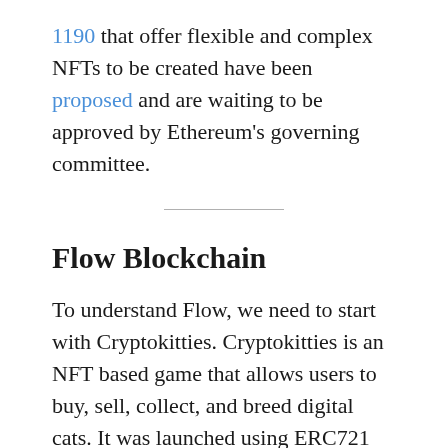1190 that offer flexible and complex NFTs to be created have been proposed and are waiting to be approved by Ethereum's governing committee.
Flow Blockchain
To understand Flow, we need to start with Cryptokitties. Cryptokitties is an NFT based game that allows users to buy, sell, collect, and breed digital cats. It was launched using ERC721 tokens. It became so popular that it clogged the Ethereum blockchain network. The team behind the game (Dapper Labs) set out to solve this